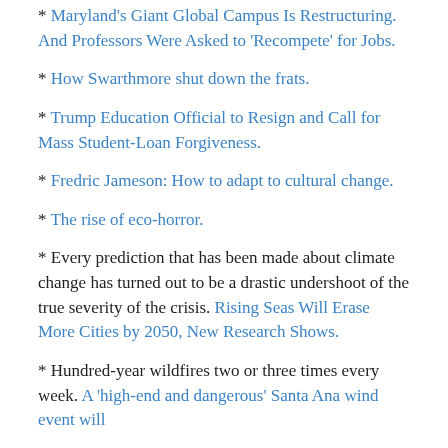Maryland's Giant Global Campus Is Restructuring. And Professors Were Asked to 'Recompete' for Jobs.
How Swarthmore shut down the frats.
Trump Education Official to Resign and Call for Mass Student-Loan Forgiveness.
Fredric Jameson: How to adapt to cultural change.
The rise of eco-horror.
Every prediction that has been made about climate change has turned out to be a drastic undershoot of the true severity of the crisis. Rising Seas Will Erase More Cities by 2050, New Research Shows.
Hundred-year wildfires two or three times every week. A 'high-end and dangerous' Santa Ana wind event will